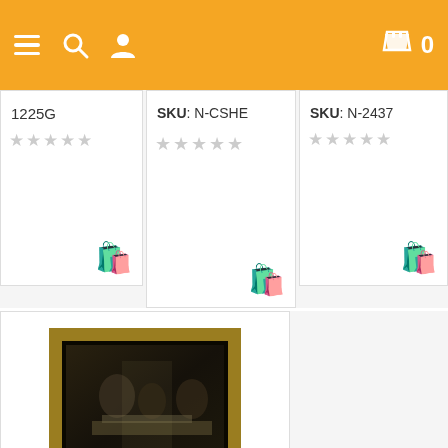Navigation bar with menu, search, user icons and cart (0)
1225G
SKU: N-CSHE
SKU: N-2437
[Figure (photo): Framed black and white picture of St. Therese Visiting the Holy Family]
St. Therese Visiting the Holy Family 8x10 Framed Picture